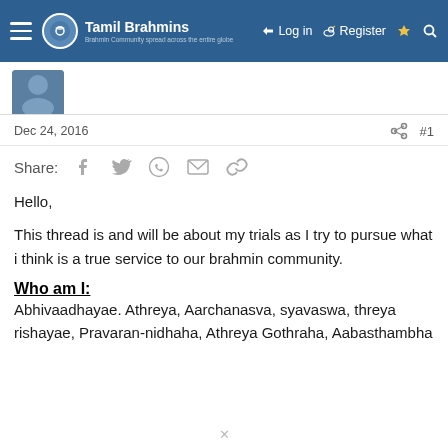Tamil Brahmins — Log in | Register
Dec 24, 2016  #1
Share: [Facebook] [Twitter] [WhatsApp] [Email] [Link]
Hello,
This thread is and will be about my trials as I try to pursue what i think is a true service to our brahmin community.
Who am I:
Abhivaadhayae. Athreya, Aarchanasva, syavaswa, threya rishayae, Pravaran-nidhaha, Athreya Gothraha, Aabasthambha